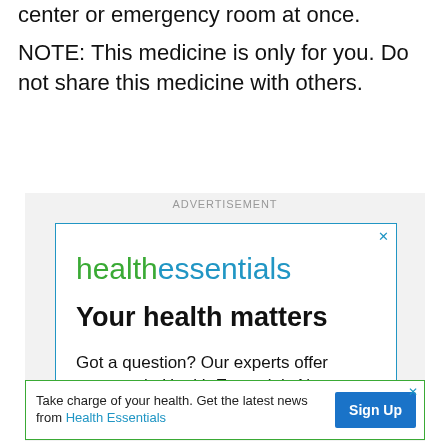center or emergency room at once.
NOTE: This medicine is only for you. Do not share this medicine with others.
[Figure (other): Advertisement box for healthessentials. Contains logo 'healthessentials', tagline 'Your health matters', body text 'Got a question? Our experts offer answers in Health Essentials News', and a blue bar at the bottom. An ADVERTISEMENT label appears above the box.]
Take charge of your health. Get the latest news from Health Essentials
Sign Up